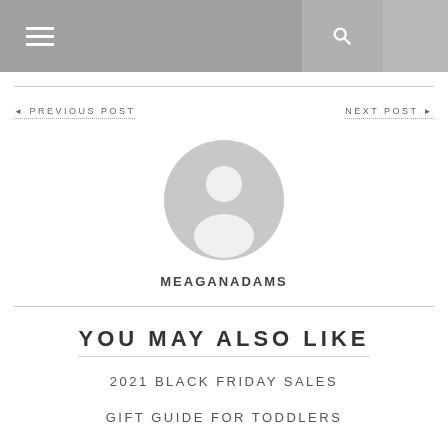≡  🔍
◄ PREVIOUS POST    NEXT POST ►
[Figure (illustration): Circular gray default avatar/profile placeholder icon with head and shoulders silhouette]
MEAGANADAMS
YOU MAY ALSO LIKE
2021 BLACK FRIDAY SALES
GIFT GUIDE FOR TODDLERS